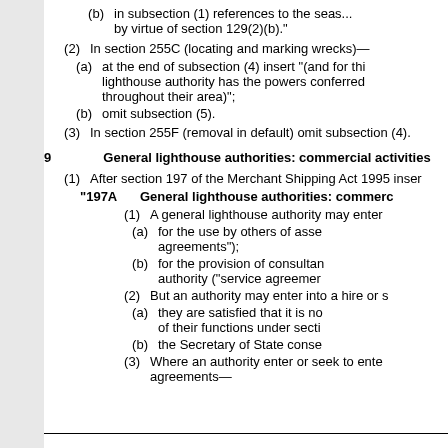(b) in subsection (1) references to the sea... by virtue of section 129(2)(b)."
(2) In section 255C (locating and marking wrecks)—
(a) at the end of subsection (4) insert "(and for this lighthouse authority has the powers conferred throughout their area)";
(b) omit subsection (5).
(3) In section 255F (removal in default) omit subsection (4).
9 General lighthouse authorities: commercial activities
(1) After section 197 of the Merchant Shipping Act 1995 inser
"197A General lighthouse authorities: commerc
(1) A general lighthouse authority may enter
(a) for the use by others of asse agreements");
(b) for the provision of consultan authority ("service agreemer
(2) But an authority may enter into a hire or s
(a) they are satisfied that it is no of their functions under secti
(b) the Secretary of State conse
(3) Where an authority enter or seek to ente agreements—